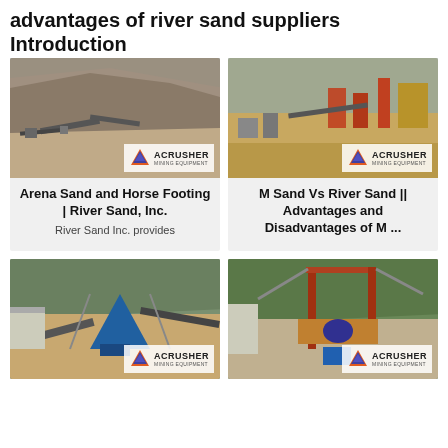advantages of river sand suppliers Introduction
[Figure (photo): Mining/quarry site with rock crushing equipment and conveyor belts on a hillside]
[Figure (photo): Mining equipment and machinery at a river sand processing site]
Arena Sand and Horse Footing | River Sand, Inc.
River Sand Inc. provides
M Sand Vs River Sand || Advantages and Disadvantages of M ...
[Figure (photo): Industrial crusher machine with conveyor belts at a mining facility with green hills in background]
[Figure (photo): Large industrial mining machinery and crane structure at a processing plant]